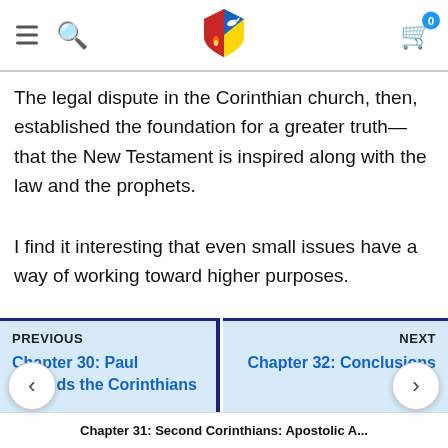Navigation header with menu, search, shield logo, and cart
The legal dispute in the Corinthian church, then, established the foundation for a greater truth—that the New Testament is inspired along with the law and the prophets.
I find it interesting that even small issues have a way of working toward higher purposes.
PREVIOUS: Chapter 30: Paul Defends the Corinthians
NEXT: Chapter 32: Conclusions
Chapter 31: Second Corinthians: Apostolic A...